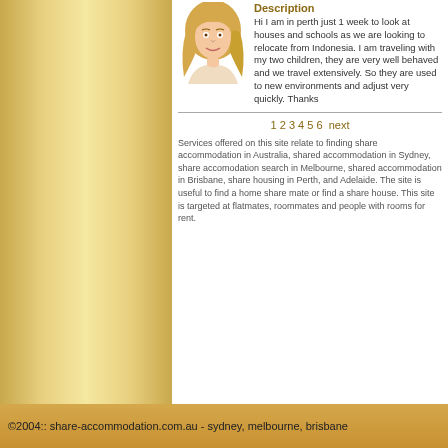[Figure (illustration): Cartoon/illustration of a blonde woman from shoulders up]
Description
Hi I am in perth just 1 week to look at houses and schools as we are looking to relocate from Indonesia. I am traveling with my two children, they are very well behaved and we travel extensively. So they are used to new environments and adjust very quickly. Thanks
1 2 3 4 5 6  next
Services offered on this site relate to finding share accommodation in Australia, shared accommodation in Sydney, share accomodation search in Melbourne, shared accommodation in Brisbane, share housing in Perth, and Adelaide. The site is useful to find a home share mate or find a share house. This site is targeted at flatmates, roommates and people with rooms for rent.
©2004:: share-accommodation.com.au - sydney, melbourne, brisbane